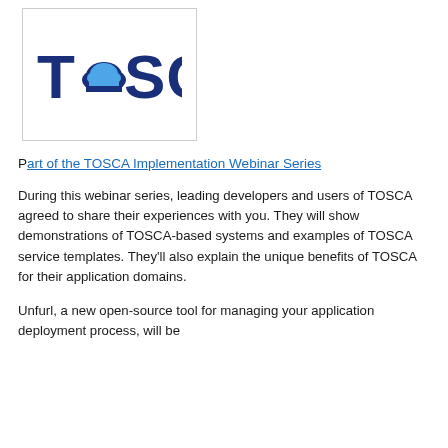[Figure (logo): TOSCA logo — the word TOSCA in bold dark blue with a light-blue cloud icon replacing the letter O, inside a bordered box]
Part of the TOSCA Implementation Webinar Series
During this webinar series, leading developers and users of TOSCA agreed to share their experiences with you. They will show demonstrations of TOSCA-based systems and examples of TOSCA service templates. They'll also explain the unique benefits of TOSCA for their application domains.
Unfurl, a new open-source tool for managing your application deployment process, will be